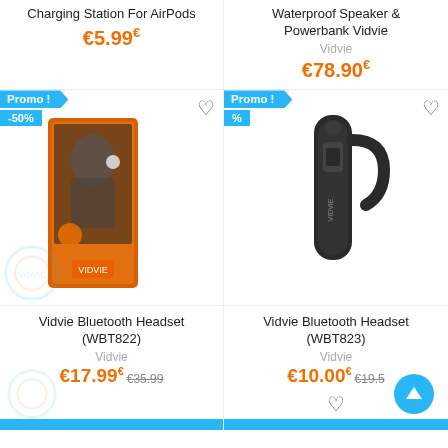Charging Station For AirPods
€5.99€
Waterprooof Speaker & Powerbank Vidvie
Vidvie
€78.90€
[Figure (photo): Product box for AirPods charging station with Promo! -50% badge, orange box with man wearing earbuds]
[Figure (photo): Black Vidvie bluetooth headset earpiece with Promo! badge]
Vidvie Bluetooth Headset (WBT822)
Vidvie
€17.99€ €35.99
Vidvie Bluetooth Headset (WBT823)
Vidvie
€10.00€ €19.5...